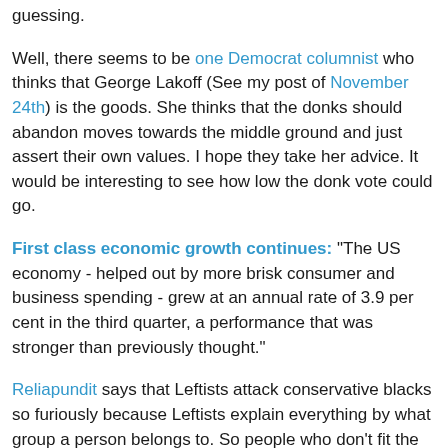guessing.
Well, there seems to be one Democrat columnist who thinks that George Lakoff (See my post of November 24th) is the goods. She thinks that the donks should abandon moves towards the middle ground and just assert their own values. I hope they take her advice. It would be interesting to see how low the donk vote could go.
First class economic growth continues: "The US economy - helped out by more brisk consumer and business spending - grew at an annual rate of 3.9 per cent in the third quarter, a performance that was stronger than previously thought."
Reliapundit says that Leftists attack conservative blacks so furiously because Leftists explain everything by what group a person belongs to. So people who don't fit the group that they are in upset the Left's entire explanatory scheme.
Bob Hayes makes the undeniable point that all political parties are supported by particular interest groups. He says however that the Democrats have far more interest groups to